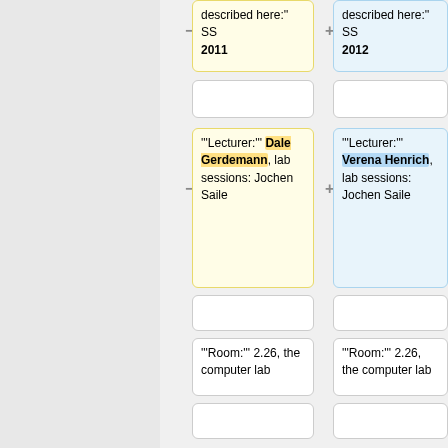described here:'' SS 2011
described here:'' SS 2012
'''Lecturer:''' Dale Gerdemann, lab sessions: Jochen Saile
'''Lecturer:''' Verena Henrich, lab sessions: Jochen Saile
'''Room:''' 2.26, the computer lab
'''Room:''' 2.26, the computer lab
'''Course Website:''' none
'''Course Website:''' [http://www.sfs.uni-tuebingen.de/~vhenrich/ss12/java/ http://www.sfs.uni-tuebingen.de/~vhenrich/ss12/java/]